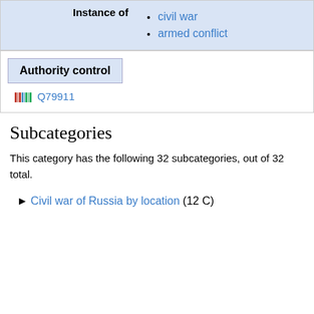| Instance of |  |
| --- | --- |
|  | civil war
armed conflict |
Authority control
Q79911
Subcategories
This category has the following 32 subcategories, out of 32 total.
► Civil war of Russia by location (12 C)